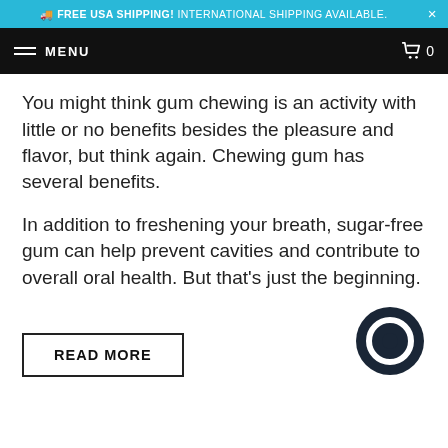🚚 FREE USA SHIPPING! INTERNATIONAL SHIPPING AVAILABLE.
MENU  🛒 0
You might think gum chewing is an activity with little or no benefits besides the pleasure and flavor, but think again. Chewing gum has several benefits.
In addition to freshening your breath, sugar-free gum can help prevent cavities and contribute to overall oral health. But that's just the beginning.
READ MORE